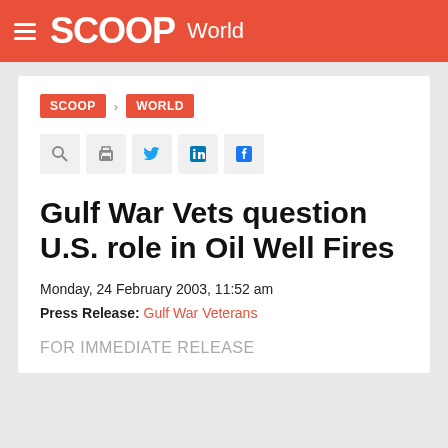SCOOP World
SCOOP > WORLD
Gulf War Vets question U.S. role in Oil Well Fires
Monday, 24 February 2003, 11:52 am
Press Release: Gulf War Veterans
FOR IMMEDIATE RELEASE